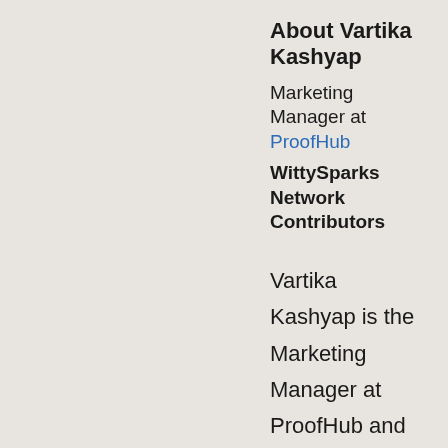About Vartika Kashyap
Marketing Manager at ProofHub
WittySparks Network Contributors
Vartika Kashyap is the Marketing Manager at ProofHub and has been one of the LinkedIn Top Voices in 2018. Her articles are inspired by office situations and work-related events. She likes to write about productivity, team building, work culture, leadership,